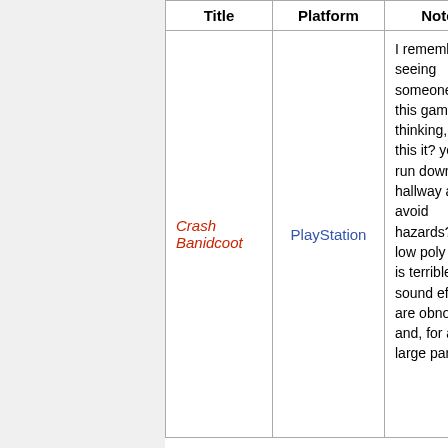| Title | Platform | Notes |
| --- | --- | --- |
| Crash Banidcoot | PlayStation | I remember seeing someone play this game and thinking, "is this it? you just run down a hallway and avoid hazards?" The low poly count is terrible, the sound effects are obnoxious, and, for a large part of |